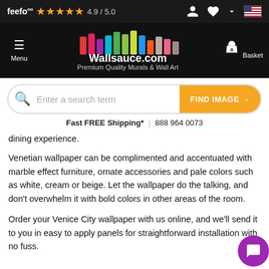feefo ★★★★★ 4.9 / 5.0
[Figure (logo): Wallsauce.com logo with colorful vertical bars above text, Menu and Basket navigation icons]
Premium Quality Murals & Wall Art
Enter a search term   FIND IMAGE →
Fast FREE Shipping*  |  888 964 0073
dining experience.
Venetian wallpaper can be complimented and accentuated with marble effect furniture, ornate accessories and pale colors such as white, cream or beige. Let the wallpaper do the talking, and don't overwhelm it with bold colors in other areas of the room.
Order your Venice City wallpaper with us online, and we'll send it to you in easy to apply panels for straightforward installation with no fuss.